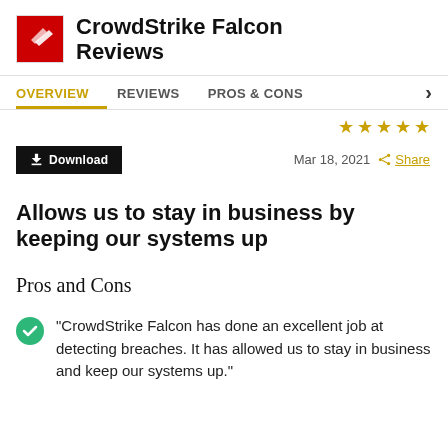CrowdStrike Falcon Reviews
OVERVIEW  REVIEWS  PROS & CONS
Mar 18, 2021  Share
Allows us to stay in business by keeping our systems up
Pros and Cons
"CrowdStrike Falcon has done an excellent job at detecting breaches. It has allowed us to stay in business and keep our systems up."